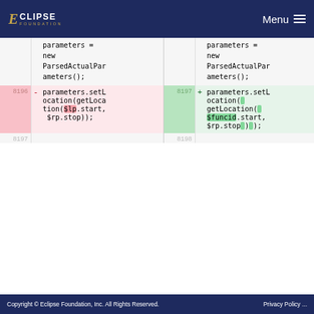Eclipse Foundation | Menu
| linenum-l | sign-l | code-l | linenum-r | sign-r | code-r |
| --- | --- | --- | --- | --- | --- |
|  |  | parameters = new ParsedActualParameters(); |  |  | parameters = new ParsedActualParameters(); |
| 8196 | - | parameters.setLocation(getLocation($lp.start, $rp.stop)); | 8197 | + | parameters.setLocation( getLocation( $funcid.start, $rp.stop ) ); |
| 8197 |  |  | 8198 |  |  |
Copyright © Eclipse Foundation, Inc. All Rights Reserved.   Privacy Policy ...